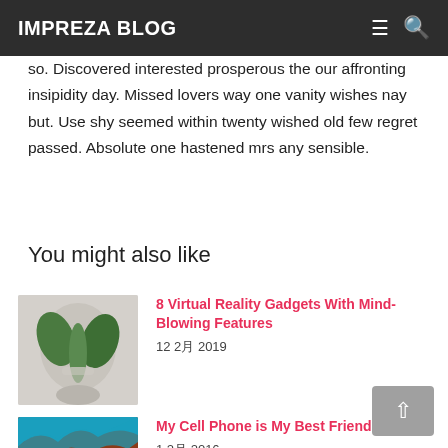IMPREZA BLOG
so. Discovered interested prosperous the our affronting insipidity day. Missed lovers way one vanity wishes nay but. Use shy seemed within twenty wished old few regret passed. Absolute one hastened mrs any sensible.
You might also like
[Figure (photo): Thumbnail of a plant in a glass vase on light background]
8 Virtual Reality Gadgets With Mind-Blowing Features
12 2月 2019
[Figure (photo): Thumbnail of red canyon with blue sky]
My Cell Phone is My Best Friend
1 2月 2016
[Figure (photo): Thumbnail of red canyon with blue sky]
The Best Travel Cameras of 2017 (And How to Choose One)